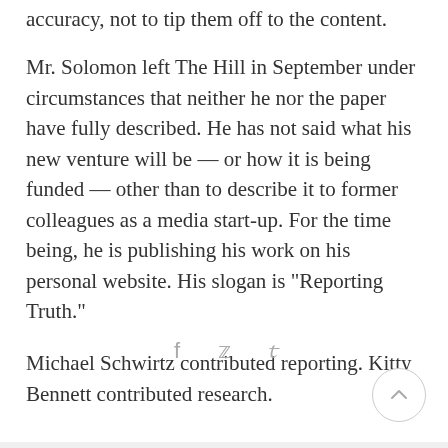accuracy, not to tip them off to the content.
Mr. Solomon left The Hill in September under circumstances that neither he nor the paper have fully described. He has not said what his new venture will be — or how it is being funded — other than to describe it to former colleagues as a media start-up. For the time being, he is publishing his work on his personal website. His slogan is “Reporting Truth.”
Michael Schwirtz contributed reporting. Kitty Bennett contributed research.
[Figure (other): Social sharing icons: Facebook (f), Twitter (bird), Pinterest (P)]
[Figure (other): Scroll-to-top button: circle with upward arrow]